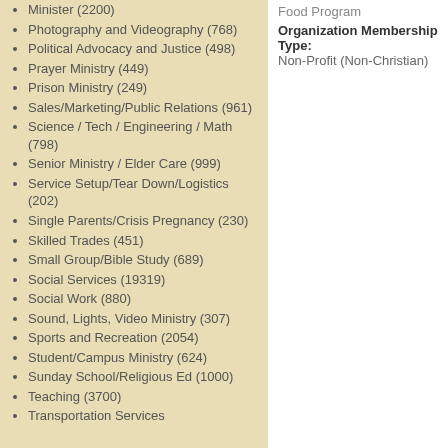Minister (2200)
Photography and Videography (768)
Political Advocacy and Justice (498)
Prayer Ministry (449)
Prison Ministry (249)
Sales/Marketing/Public Relations (961)
Science / Tech / Engineering / Math (798)
Senior Ministry / Elder Care (999)
Service Setup/Tear Down/Logistics (202)
Single Parents/Crisis Pregnancy (230)
Skilled Trades (451)
Small Group/Bible Study (689)
Social Services (19319)
Social Work (880)
Sound, Lights, Video Ministry (307)
Sports and Recreation (2054)
Student/Campus Ministry (624)
Sunday School/Religious Ed (1000)
Teaching (3700)
Transportation Services
Food Program
Organization Membership Type: Non-Profit (Non-Christian)